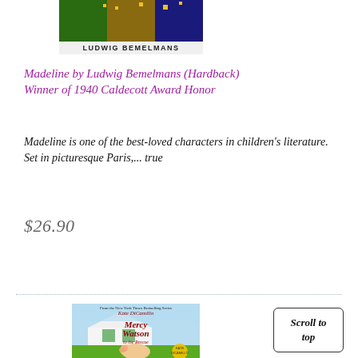[Figure (photo): Partial book cover showing 'Ludwig Bemelmans' text at the bottom, with colorful illustrated art visible at the top of the page]
Madeline by Ludwig Bemelmans (Hardback) Winner of 1940 Caldecott Award Honor
Madeline is one of the best-loved characters in children's literature. Set in picturesque Paris,... true
$26.90
[Figure (photo): Book cover for 'Mercy Watson to the Rescue' by Kate DiCamillo, showing a pig on a green lawn in front of a white house]
Scroll to top